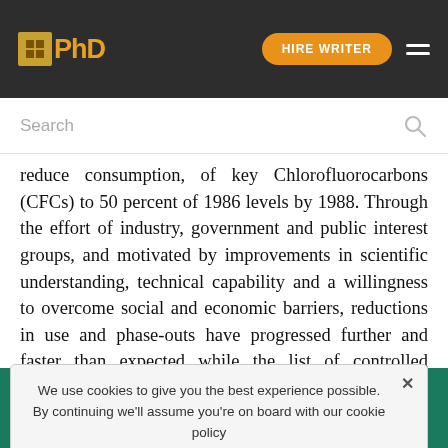IPhD | HIRE WRITER
Search
reduce consumption, of key Chlorofluorocarbons (CFCs) to 50 percent of 1986 levels by 1988. Through the effort of industry, government and public interest groups, and motivated by improvements in scientific understanding, technical capability and a willingness to overcome social and economic barriers, reductions in use and phase-outs have progressed further and faster than expected while the list of controlled chemicals has expanded and Copenhagen in 1992. Parties accelerated the original reduction schedules and added the new substances to the list. Three years later, at the seventh meeting of the
We use cookies to give you the best experience possible. By continuing we'll assume you're on board with our cookie policy